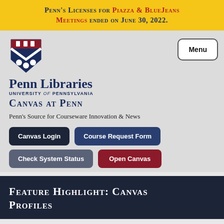Penn's licenses for Piazza & BlueJeans Meetings ended on June 30, 2022.
[Figure (logo): University of Pennsylvania shield logo]
Penn Libraries University of Pennsylvania
Canvas at Penn
Penn's Source for Courseware Innovation & News
Canvas Login
Course Request Form
Check System Status
Open Canvas
Feature Highlight: Canvas Profiles